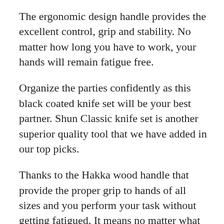The ergonomic design handle provides the excellent control, grip and stability. No matter how long you have to work, your hands will remain fatigue free.
Organize the parties confidently as this black coated knife set will be your best partner. Shun Classic knife set is another superior quality tool that we have added in our top picks.
Thanks to the Hakka wood handle that provide the proper grip to hands of all sizes and you perform your task without getting fatigued. It means no matter what type of cutting you are doing; your knife will stay safe.
The chef knife with special design is available at high cost. But don’t worry about he prices when you buy it you will forget about the money you